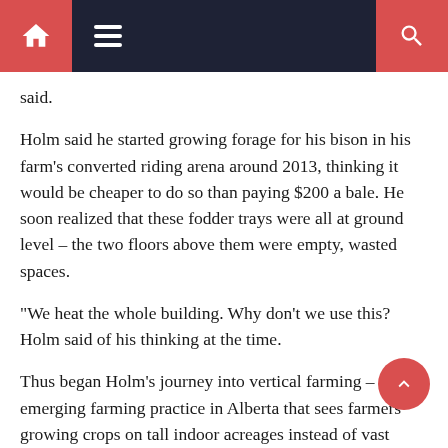Navigation bar with home, menu, and search icons
said.
Holm said he started growing forage for his bison in his farm's converted riding arena around 2013, thinking it would be cheaper to do so than paying $200 a bale. He soon realized that these fodder trays were all at ground level – the two floors above them were empty, wasted spaces.
“We heat the whole building. Why don't we use this? Holm said of his thinking at the time.
Thus began Holm's journey into vertical farming – an emerging farming practice in Alberta that sees farmers growing crops on tall indoor acreages instead of vast outdoor fields.
Today, he and his crew of 10 and numerous bumblebees